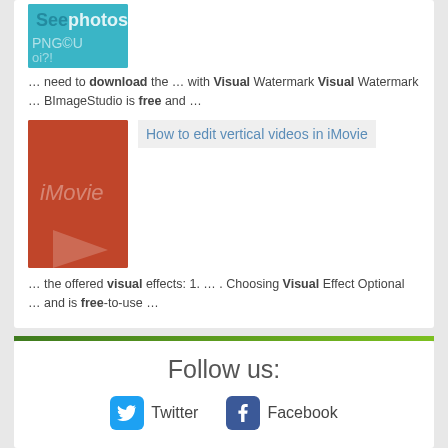[Figure (screenshot): Teal thumbnail image with text and icons for a photo-related article]
... need to download the … with Visual Watermark Visual Watermark … BImageStudio is free and …
[Figure (screenshot): Red/orange iMovie thumbnail with iMovie text and arrow graphic]
How to edit vertical videos in iMovie
… the offered visual effects: 1. … . Choosing Visual Effect Optional … and is free-to-use …
Follow us:
Twitter  Facebook
Software catalog • DMCA / Request content removal • Submit • Contact us